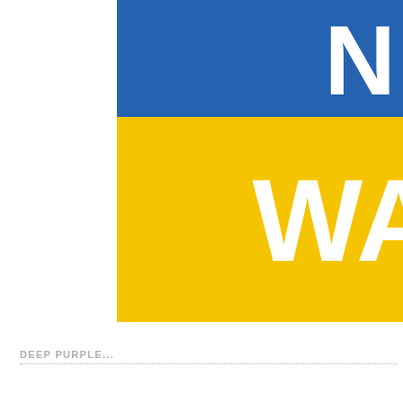[Figure (illustration): Cropped view of a sign or banner with two colored sections: a blue upper band with white text starting with 'N' (partially visible), and a large yellow/gold lower section with white bold text starting with 'WA' (partially visible). The image is cropped on the right side.]
DEEP PURPLE...